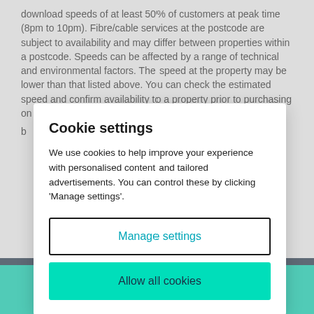download speeds of at least 50% of customers at peak time (8pm to 10pm). Fibre/cable services at the postcode are subject to availability and may differ between properties within a postcode. Speeds can be affected by a range of technical and environmental factors. The speed at the property may be lower than that listed above. You can check the estimated speed and confirm availability to a property prior to purchasing on the b
Cookie settings
We use cookies to help improve your experience with personalised content and tailored advertisements. You can control these by clicking 'Manage settings'.
Manage settings
Allow all cookies
Email agent
Call agent